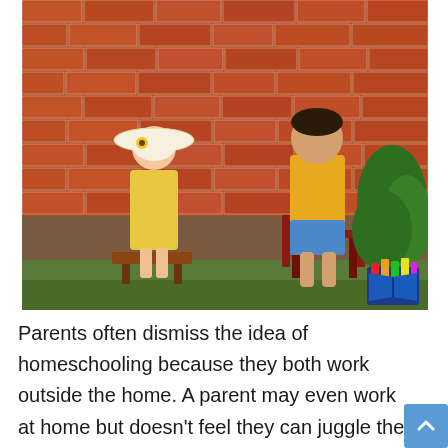[Figure (photo): Two children seen from behind, facing a red brick wall. A small girl in a yellow dress and white sun hat with a sunflower stands on a wooden bench. A boy in a yellow long-sleeve shirt and blue shorts sits on a red chair to the right. Green bushes visible on the right side. A colorful book logo icon is in the lower right corner of the photo.]
Parents often dismiss the idea of homeschooling because they both work outside the home. A parent may even work at home but doesn't feel they can juggle the demands of being both an employee and a